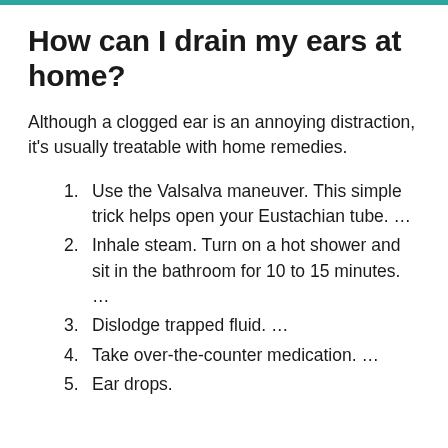How can I drain my ears at home?
Although a clogged ear is an annoying distraction, it's usually treatable with home remedies.
Use the Valsalva maneuver. This simple trick helps open your Eustachian tube. …
Inhale steam. Turn on a hot shower and sit in the bathroom for 10 to 15 minutes. …
Dislodge trapped fluid. …
Take over-the-counter medication. …
Ear drops.